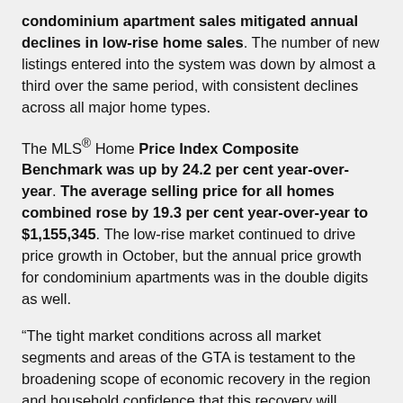condominium apartment sales mitigated annual declines in low-rise home sales. The number of new listings entered into the system was down by almost a third over the same period, with consistent declines across all major home types.
The MLS® Home Price Index Composite Benchmark was up by 24.2 per cent year-over-year. The average selling price for all homes combined rose by 19.3 per cent year-over-year to $1,155,345. The low-rise market continued to drive price growth in October, but the annual price growth for condominium apartments was in the double digits as well.
“The tight market conditions across all market segments and areas of the GTA is testament to the broadening scope of economic recovery in the region and household confidence that this recovery will continue. A key part of future economic development in the GTA will be the ability to provide adequate ownership and rental housing supply so